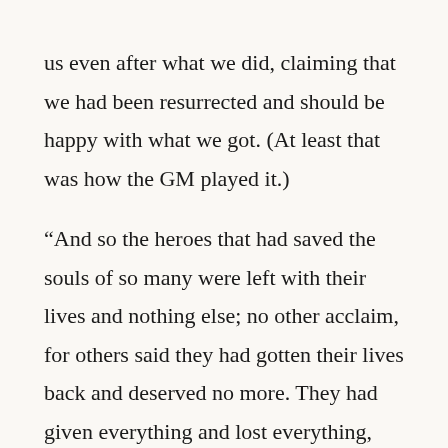us even after what we did, claiming that we had been resurrected and should be happy with what we got. (At least that was how the GM played it.)
“And so the heroes that had saved the souls of so many were left with their lives and nothing else; no other acclaim, for others said they had gotten their lives back and deserved no more. They had given everything and lost everything, and so, these heroes died of hunger and the elements, for they did not even have shoes, and winter in the North was harsh that year; none would give